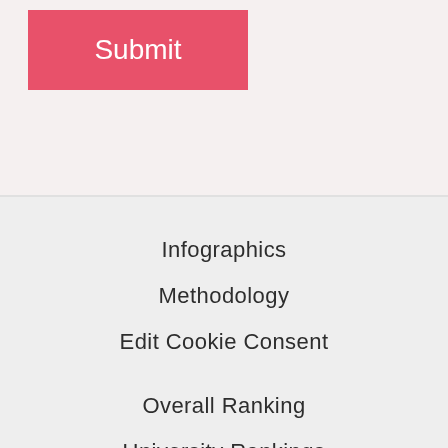[Figure (screenshot): Pink/red Submit button on a light pinkish-gray background]
Infographics
Methodology
Edit Cookie Consent
Overall Ranking
University Rankings